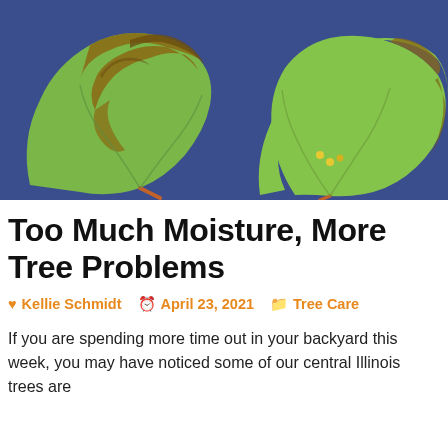[Figure (photo): Close-up photo of two large green maple-like leaves with brown scorched/diseased areas, placed on a dark blue background.]
Too Much Moisture, More Tree Problems
Kellie Schmidt   April 23, 2021   Tree Care
If you are spending more time out in your backyard this week, you may have noticed some of our central Illinois trees are something this spring. Maybe branches had started to